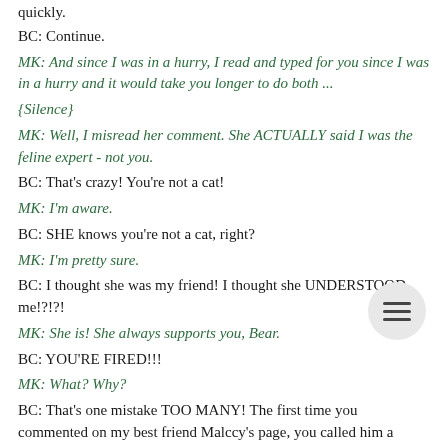quickly.
BC: Continue.
MK: And since I was in a hurry, I read and typed for you since I was in a hurry and it would take you longer to do both ...
{Silence}
MK: Well, I misread her comment. She ACTUALLY said I was the feline expert - not you.
BC: That's crazy! You're not a cat!
MK: I'm aware.
BC: SHE knows you're not a cat, right?
MK: I'm pretty sure.
BC: I thought she was my friend! I thought she UNDERSTOOD me!?!?!
MK: She is! She always supports you, Bear.
BC: YOU'RE FIRED!!!
MK: What? Why?
BC: That's one mistake TOO MANY! The first time you commented on my best friend Malccy's page, you called him a